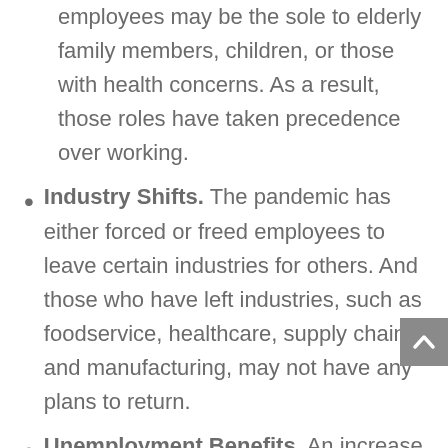employees may be the sole to elderly family members, children, or those with health concerns. As a result, those roles have taken precedence over working.
Industry Shifts. The pandemic has either forced or freed employees to leave certain industries for others. And those who have left industries, such as foodservice, healthcare, supply chain, and manufacturing, may not have any plans to return.
Unemployment Benefits. An increase in unemployment benefits and stimulus packages offer more incentive to stay home and wait out the pandemic in hopes of an improved economy. Many who are on unemployment benefits may also be waiting for better working